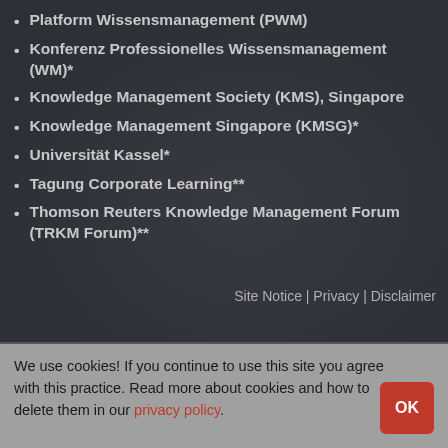Platform Wissensmanagement (PWM)
Konferenz Professionelles Wissensmanagement (WM)*
Knowledge Management Society (KMS), Singapore
Knowledge Management Singapore (KMSG)*
Universität Kassel*
Tagung Corporate Learning**
Thomson Reuters Knowledge Management Forum (TRKM Forum)**
Site Notice | Privacy | Disclaimer
We use cookies! If you continue to use this site you agree with this practice. Read more about cookies and how to delete them in our privacy policy.